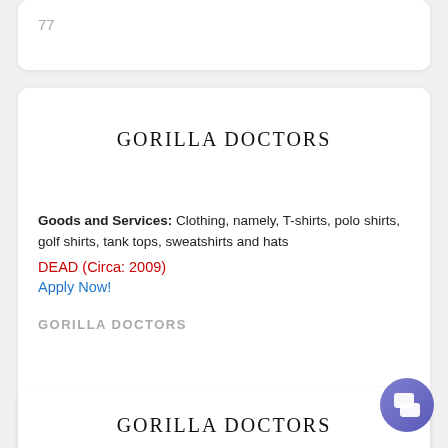77
GORILLA DOCTORS
Goods and Services: Clothing, namely, T-shirts, polo shirts, golf shirts, tank tops, sweatshirts and hats
DEAD (Circa: 2009)
Apply Now!
GORILLA DOCTORS
GORILLA DOCTORS